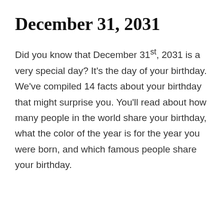December 31, 2031
Did you know that December 31st, 2031 is a very special day? It's the day of your birthday. We've compiled 14 facts about your birthday that might surprise you. You'll read about how many people in the world share your birthday, what the color of the year is for the year you were born, and which famous people share your birthday.